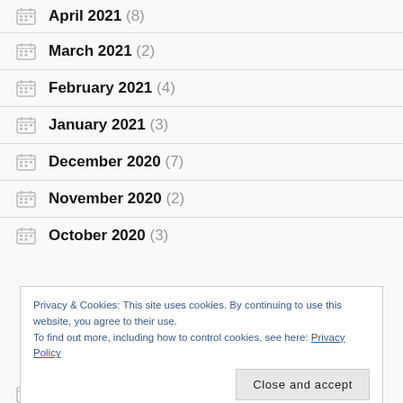April 2021 (8)
March 2021 (2)
February 2021 (4)
January 2021 (3)
December 2020 (7)
November 2020 (2)
October 2020 (3)
Privacy & Cookies: This site uses cookies. By continuing to use this website, you agree to their use. To find out more, including how to control cookies, see here: Privacy Policy
July 2020 (5)